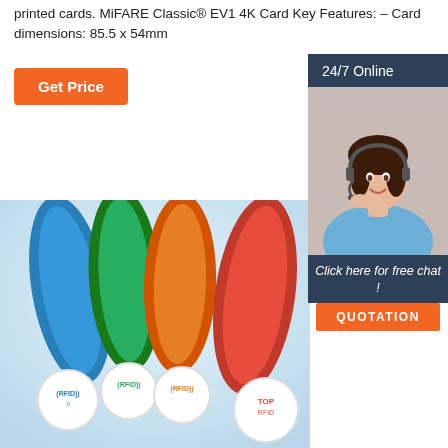printed cards. MiFARE Classic® EV1 4K Card Key Features: – Card dimensions: 85.5 x 54mm
Get Price
[Figure (infographic): 24/7 Online customer service representative sidebar with headset, 'Click here for free chat!' text, and QUOTATION button]
[Figure (photo): Four RFID silicone wristbands in blue, green, orange, and red colors with RFID logo on white circular pad]